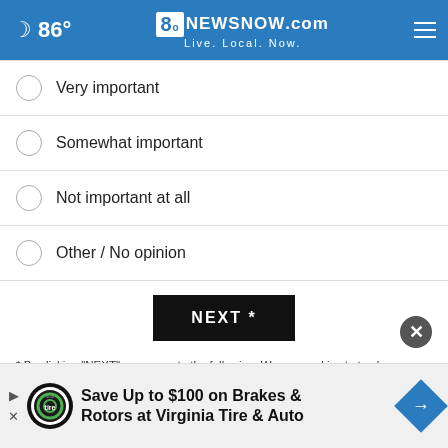🌙 86° | 8NewsNow.com Live. Local. Now.
Very important
Somewhat important
Not important at all
Other / No opinion
NEXT *
* By clicking "NEXT" you agree to the following: We use cookies to track your survey answers. If you would like to continue with this survey, please read and agree to the CivicScience Privacy Policy and Terms of Service
[Figure (other): Advertisement banner: Save Up to $100 on Brakes & Rotors at Virginia Tire & Auto]